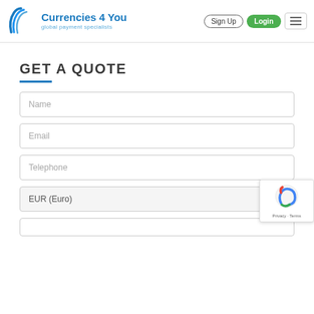[Figure (logo): Currencies 4 You logo with blue wave/swirl graphic and text 'Currencies 4 You global payment specialists']
Sign Up
Login
GET A QUOTE
Name
Email
Telephone
EUR (Euro)